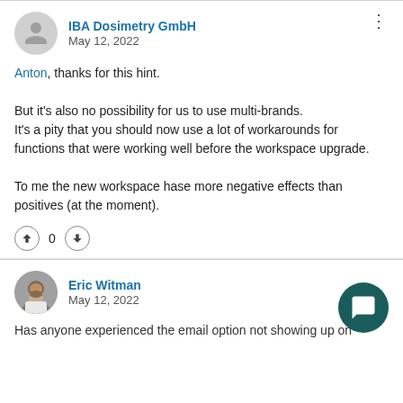IBA Dosimetry GmbH
May 12, 2022
Anton, thanks for this hint.

But it's also no possibility for us to use multi-brands.
It's a pity that you should now use a lot of workarounds for functions that were working well before the workspace upgrade.

To me the new workspace hase more negative effects than positives (at the moment).
Eric Witman
May 12, 2022
Has anyone experienced the email option not showing up on